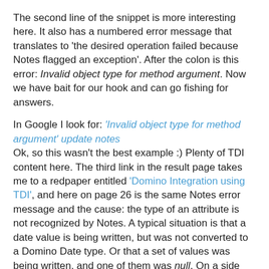The second line of the snippet is more interesting here. It also has a numbered error message that translates to 'the desired operation failed because Notes flagged an exception'. After the colon is this error: Invalid object type for method argument. Now we have bait for our hook and can go fishing for answers.
In Google I look for: 'Invalid object type for method argument' update notes
Ok, so this wasn't the best example :) Plenty of TDI content here. The third link in the result page takes me to a redpaper entitled 'Domino Integration using TDI', and here on page 26 is the same Notes error message and the cause: the type of an attribute is not recognized by Notes. A typical situation is that a date value is being written, but was not converted to a Domino Date type. Or that a set of values was being written, and one of them was null. On a side note: This can happen if you are using the template example for AD - Domino synchronization and the AD instance you're working against has a different schema for Users than the standard, out-of-the-box one. In this case the 'Location' attribute in the Output Map or the Domino Connector may be in error.